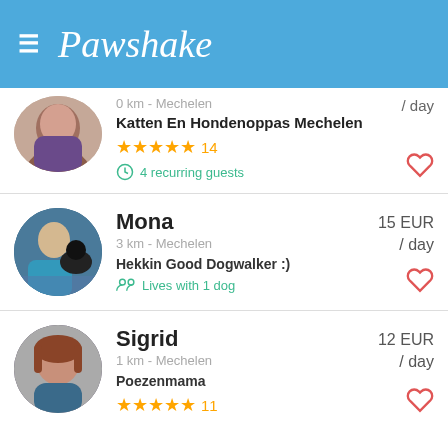Pawshake
0 km - Mechelen | / day
Katten En Hondenoppas Mechelen
★★★★★ 14
4 recurring guests
Mona | 15 EUR / day | 3 km - Mechelen | Hekkin Good Dogwalker :) | Lives with 1 dog
Sigrid | 12 EUR / day | 1 km - Mechelen | Poezenmama | ★★★★★ 11